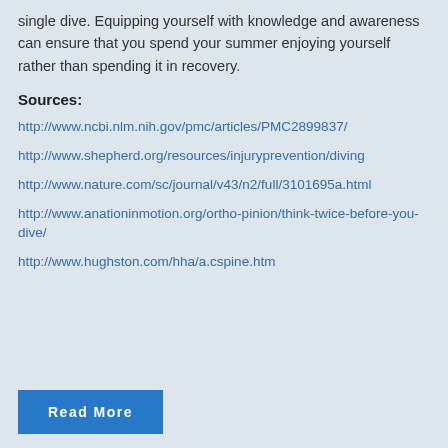single dive. Equipping yourself with knowledge and awareness can ensure that you spend your summer enjoying yourself rather than spending it in recovery.
Sources:
http://www.ncbi.nlm.nih.gov/pmc/articles/PMC2899837/
http://www.shepherd.org/resources/injuryprevention/diving
http://www.nature.com/sc/journal/v43/n2/full/3101695a.html
http://www.anationinmotion.org/ortho-pinion/think-twice-before-you-dive/
http://www.hughston.com/hha/a.cspine.htm
Read More